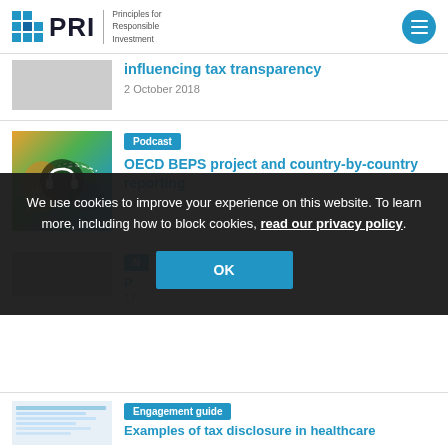PRI – Principles for Responsible Investment
influencing tax transparency
2 October 2018
[Figure (photo): Podcast thumbnail image showing a map with dashed lines and a headphones icon]
Podcast
OECD BEPS project and country-by-country reporting
19 June 2018
We use cookies to improve your experience on this website. To learn more, including how to block cookies, read our privacy policy.
[Figure (photo): Partial thumbnail for third article, engagement guide]
Engagement guide
Examples of tax disclosure in healthcare